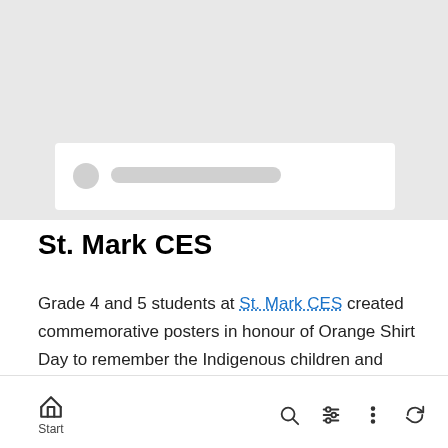[Figure (screenshot): Gray placeholder screenshot area with a white card containing a circle and a bar, representing a loading or skeleton screen element]
St. Mark CES
Grade 4 and 5 students at St. Mark CES created commemorative posters in honour of Orange Shirt Day to remember the Indigenous children and families affected by the residential school system.
Start